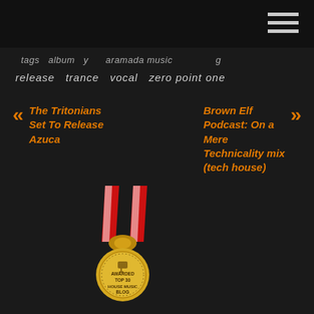tags   album   y   aramada music   g
release   trance   vocal   zero point one
« The Tritonians Set To Release Azuca
Brown Elf Podcast: On a Mere Technicality mix (tech house) »
[Figure (illustration): Gold medal with red and white ribbon awarded Top 30 House Music Blog]